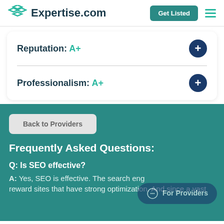Expertise.com
Reputation: A+
Professionalism: A+
Back to Providers
Frequently Asked Questions:
Q: Is SEO effective?
A: Yes, SEO is effective. The search eng… reward sites that have strong optimization. And since a vast